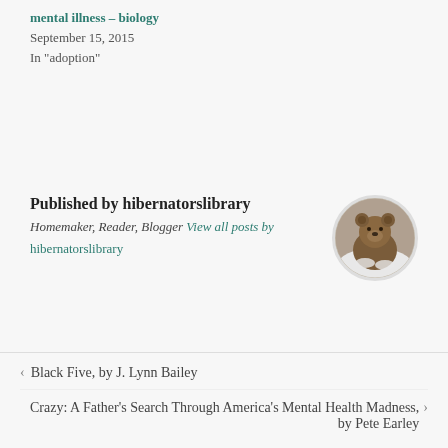mental illness – biology
September 15, 2015
In "adoption"
Published by hibernatorslibrary Homemaker, Reader, Blogger View all posts by hibernatorslibrary
[Figure (photo): Circular avatar image of a brown bear standing in snow]
< Black Five, by J. Lynn Bailey
Crazy: A Father's Search Through America's Mental Health Madness, by Pete Earley >